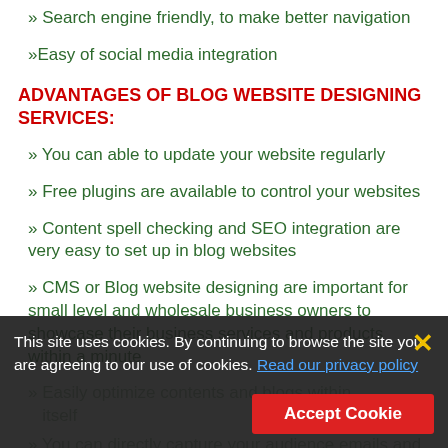» Search engine friendly, to make better navigation
»Easy of social media integration
ADVANTAGES OF BLOG WEBSITE DESIGNING SERVICES:
» You can able to update your website regularly
» Free plugins are available to control your websites
» Content spell checking and SEO integration are very easy to set up in blog websites
» CMS or Blog website designing are important for small level and wholesale business owners to showcase their business services and products within a minute
» Easily optimize contents and blogs within itself
» You can directly capture your audience emails and